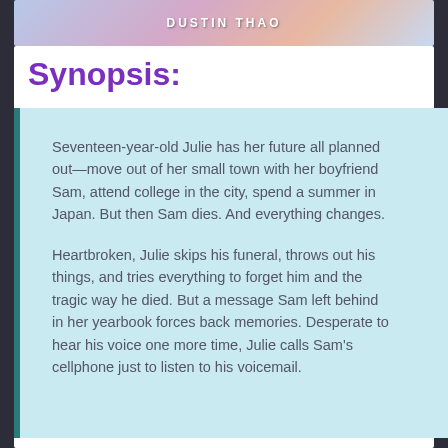[Figure (photo): Top banner image with author name DUSTIN THAO and a circular badge on the right, showing a book cover illustration]
Synopsis:
Seventeen-year-old Julie has her future all planned out—move out of her small town with her boyfriend Sam, attend college in the city, spend a summer in Japan. But then Sam dies. And everything changes.

Heartbroken, Julie skips his funeral, throws out his things, and tries everything to forget him and the tragic way he died. But a message Sam left behind in her yearbook forces back memories. Desperate to hear his voice one more time, Julie calls Sam's cellphone just to listen to his voicemail.